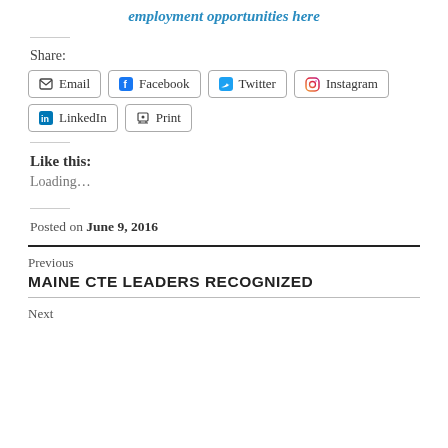employment opportunities here
Share:
Email | Facebook | Twitter | Instagram | LinkedIn | Print
Like this:
Loading...
Posted on June 9, 2016
Previous
MAINE CTE LEADERS RECOGNIZED
Next